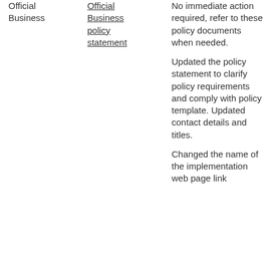| Official Business | Official Business policy statement | No immediate action required, refer to these policy documents when needed.

Updated the policy statement to clarify policy requirements and comply with policy template. Updated contact details and titles.

Changed the name of the implementation web page link |